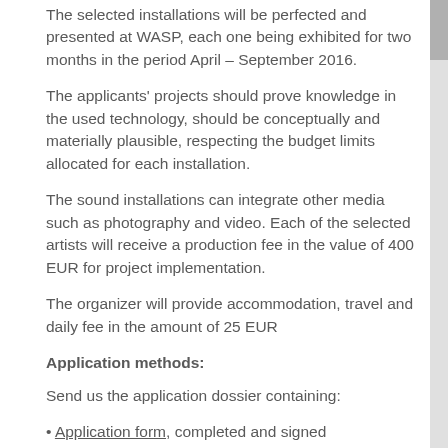The selected installations will be perfected and presented at WASP, each one being exhibited for two months in the period April – September 2016.
The applicants' projects should prove knowledge in the used technology, should be conceptually and materially plausible, respecting the budget limits allocated for each installation.
The sound installations can integrate other media such as photography and video. Each of the selected artists will receive a production fee in the value of 400 EUR for project implementation.
The organizer will provide accommodation, travel and daily fee in the amount of 25 EUR
Application methods:
Send us the application dossier containing:
• Application form, completed and signed
• CV (compulsory) and portfolio (selected projects, 5 pages max, pdf)